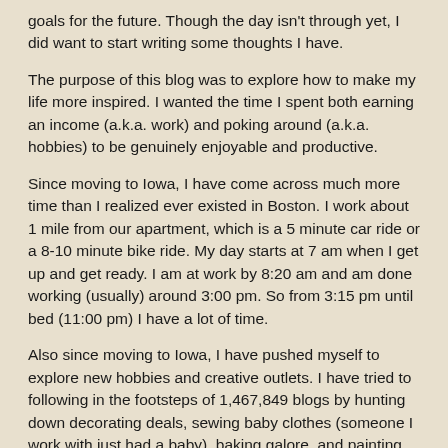goals for the future.  Though the day isn't through yet, I did want to start writing some thoughts I have.
The purpose of this blog was to explore how to make my life more inspired.  I wanted the time I spent both earning an income (a.k.a. work) and poking around (a.k.a. hobbies) to be genuinely enjoyable and productive.
Since moving to Iowa, I have come across much more time than I realized ever existed in Boston.  I work about 1 mile from our apartment, which is a 5 minute car ride or a 8-10 minute bike ride.  My day starts at 7 am when I get up and get ready.  I am at work by 8:20 am and am done working (usually) around 3:00 pm.  So from 3:15 pm until bed (11:00 pm) I have a lot of time.
Also since moving to Iowa, I have pushed myself to explore new hobbies and creative outlets.  I have tried to following in the footsteps of 1,467,849 blogs by hunting down decorating deals, sewing baby clothes (someone I work with just had a baby), baking galore, and painting furniture.  This constant hunt for some sort of domestic perfection has really helped